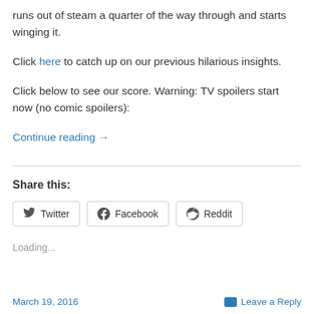runs out of steam a quarter of the way through and starts winging it.
Click here to catch up on our previous hilarious insights.
Click below to see our score. Warning: TV spoilers start now (no comic spoilers):
Continue reading →
Share this:
Twitter  Facebook  Reddit
Loading...
March 19, 2016   Leave a Reply